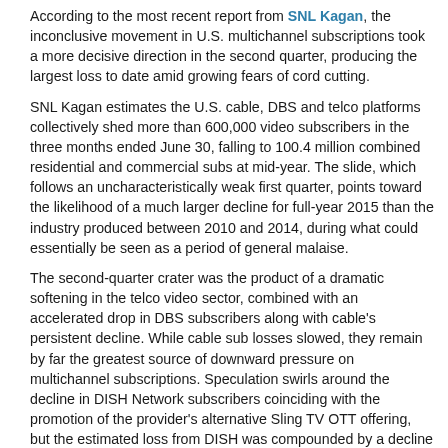According to the most recent report from SNL Kagan, the inconclusive movement in U.S. multichannel subscriptions took a more decisive direction in the second quarter, producing the largest loss to date amid growing fears of cord cutting.
SNL Kagan estimates the U.S. cable, DBS and telco platforms collectively shed more than 600,000 video subscribers in the three months ended June 30, falling to 100.4 million combined residential and commercial subs at mid-year. The slide, which follows an uncharacteristically weak first quarter, points toward the likelihood of a much larger decline for full-year 2015 than the industry produced between 2010 and 2014, during what could essentially be seen as a period of general malaise.
The second-quarter crater was the product of a dramatic softening in the telco video sector, combined with an accelerated drop in DBS subscribers along with cable's persistent decline. While cable sub losses slowed, they remain by far the greatest source of downward pressure on multichannel subscriptions. Speculation swirls around the decline in DISH Network subscribers coinciding with the promotion of the provider's alternative Sling TV OTT offering, but the estimated loss from DISH was compounded by a decline at DIRECTV to drive the satellite total lower.
Additional highlights from SNL Kagan's 2nd Quarter U.S.